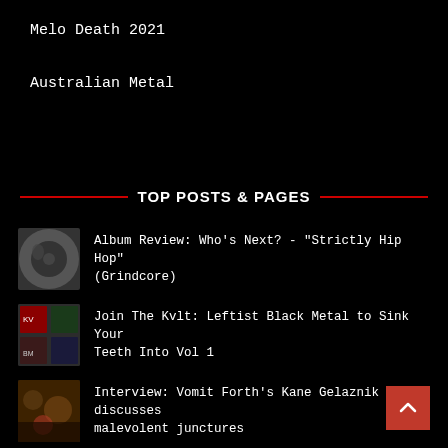Melo Death 2021
Australian Metal
TOP POSTS & PAGES
Album Review: Who's Next? - "Strictly Hip Hop" (Grindcore)
Join The Kvlt: Leftist Black Metal to Sink Your Teeth Into Vol 1
Interview: Vomit Forth's Kane Gelaznik discusses malevolent junctures
Album Review: Cyborg Octopus - "Between the Light and Air" (Prog Metal)
Album Review: Wormrot - "Hiss" (Grindcore)